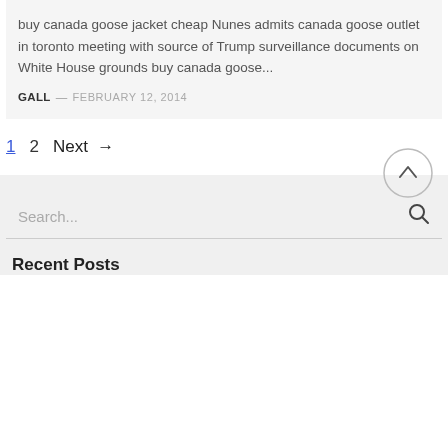buy canada goose jacket cheap Nunes admits canada goose outlet in toronto meeting with source of Trump surveillance documents on White House grounds buy canada goose...
GALL — FEBRUARY 12, 2014
1  2  Next →
Search...
Recent Posts